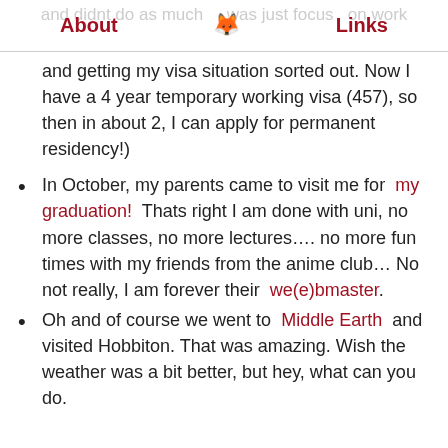About | [fox icon] | Links
and getting my visa situation sorted out. Now I have a 4 year temporary working visa (457), so then in about 2, I can apply for permanent residency!)
In October, my parents came to visit me for my graduation! Thats right I am done with uni, no more classes, no more lectures…. no more fun times with my friends from the anime club… No not really, I am forever their we(e)bmaster.
Oh and of course we went to Middle Earth and visited Hobbiton. That was amazing. Wish the weather was a bit better, but hey, what can you do.